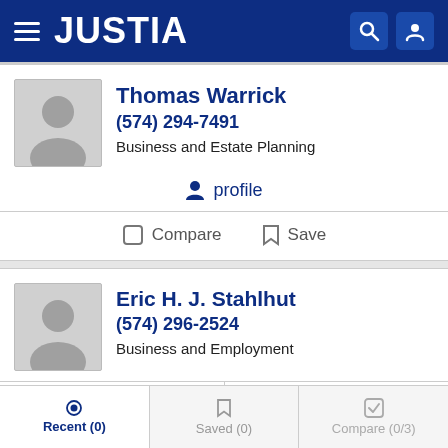JUSTIA
Thomas Warrick
(574) 294-7491
Business and Estate Planning
profile
Compare  Save
Eric H. J. Stahlhut
(574) 296-2524
Business and Employment
profile   email
Recent (0)  Saved (0)  Compare (0/3)